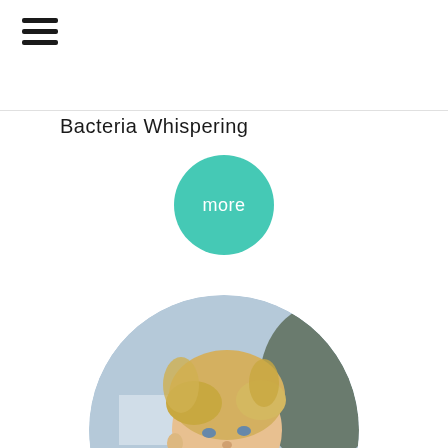[Figure (other): Hamburger menu icon with three horizontal lines]
Bacteria Whispering
[Figure (other): Teal circular button with the word 'more' in white text]
[Figure (photo): Circular cropped photo of a smiling blonde woman wearing a dark navy top with decorative text script, outdoors with blurred background]